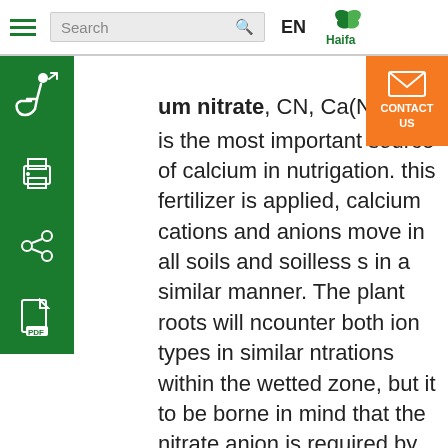Search | EN | Haifa
um nitrate, CN, Ca(NO3)2 is the most important source of calcium in nutrigation. this fertilizer is applied, calcium cations and anions move in all soils and soilless s in a similar manner. The plant roots will ncounter both ion types in similar ntrations within the wetted zone, but it to be borne in mind that the nitrate anion is required by the plant at a 10-fold higher rate than the calcium. So the cation nutrition scheme should be balanced with appropriate rates of